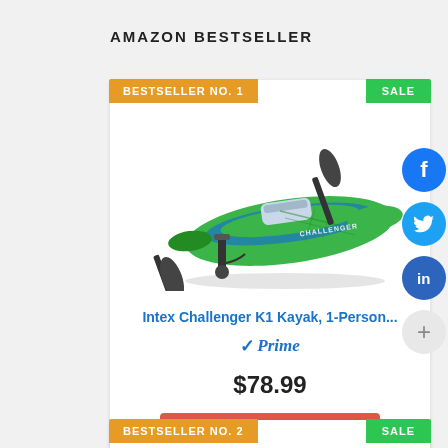AMAZON BESTSELLER
BESTSELLER NO. 1
SALE
[Figure (photo): Intex Challenger K1 inflatable kayak with paddle and pump, green/blue, on white background]
Intex Challenger K1 Kayak, 1-Person...
Prime
$78.99
Buy on Amazon
BESTSELLER NO. 2
SALE